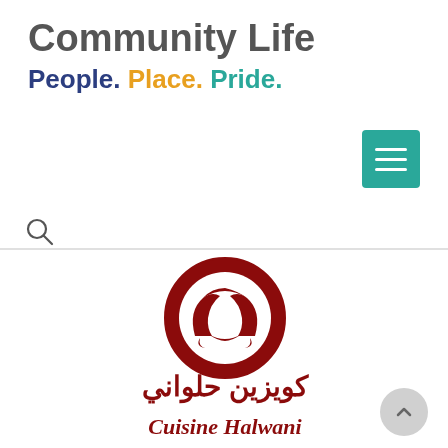Community Life
People. Place. Pride.
[Figure (other): Teal hamburger menu button with three white horizontal lines]
[Figure (other): Search icon (magnifying glass)]
[Figure (logo): Cuisine Halwani logo — dark red circular emblem with Arabic calligraphic letterforms, Arabic text 'كويزين حلواني' above cursive English text 'Cuisine Halwani']
[Figure (other): Scroll-to-top button, circular gray with upward chevron]